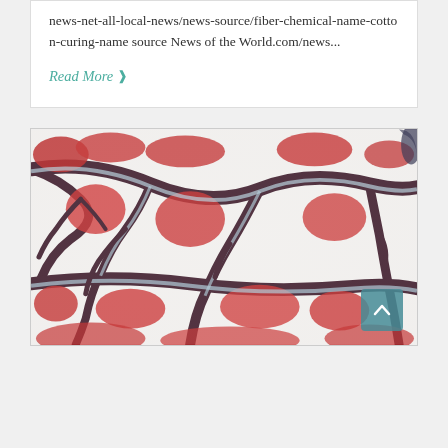news-net-all-local-news/news-source/fiber-chemical-name-cotton-curing-name source News of the World.com/news...
Read More >
[Figure (photo): Satellite or aerial false-color image showing mountainous terrain with ridges and valleys rendered in white, red, dark purple/maroon, and light blue colors, suggesting a multispectral or infrared remote sensing image.]